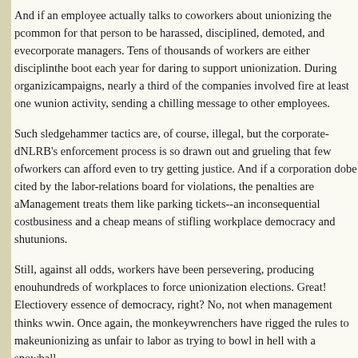And if an employee actually talks to coworkers about unionizing the p[age cut] common for that person to be harassed, disciplined, demoted, and eve[n fired by] corporate managers. Tens of thousands of workers are either disciplin[ed or given] the boot each year for daring to support unionization. During organizi[ng] campaigns, nearly a third of the companies involved fire at least one w[orker for] union activity, sending a chilling message to other employees.
Such sledgehammer tactics are, of course, illegal, but the corporate-do[minated] NLRB's enforcement process is so drawn out and grueling that few of [the] workers can afford even to try getting justice. And if a corporation do[es] be cited by the labor-relations board for violations, the penalties are a[joke.] Management treats them like parking tickets--an inconsequential cost [of] business and a cheap means of stifling workplace democracy and shut[ting out] unions.
Still, against all odds, workers have been persevering, producing enou[gh signatures in] hundreds of workplaces to force unionization elections. Great! Electio[ns are the] very essence of democracy, right? No, not when management thinks w[e can't] win. Once again, the monkeywrenchers have rigged the rules to make [the process of] unionizing as unfair to labor as trying to bowl in hell with a snowball.
The so-called election in which only one side (at guess which one) gets to...